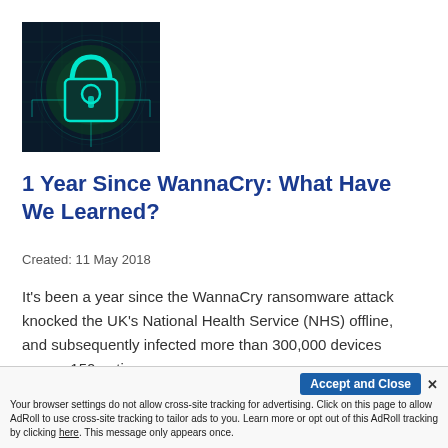[Figure (photo): Glowing digital padlock on dark teal/green circuit board background, representing cybersecurity]
1 Year Since WannaCry: What Have We Learned?
Created: 11 May 2018
It's been a year since the WannaCry ransomware attack knocked the UK's National Health Service (NHS) offline, and subsequently infected more than 300,000 devices across 150 nations.
Accept and Close ✕
Your browser settings do not allow cross-site tracking for advertising. Click on this page to allow AdRoll to use cross-site tracking to tailor ads to you. Learn more or opt out of this AdRoll tracking by clicking here. This message only appears once.